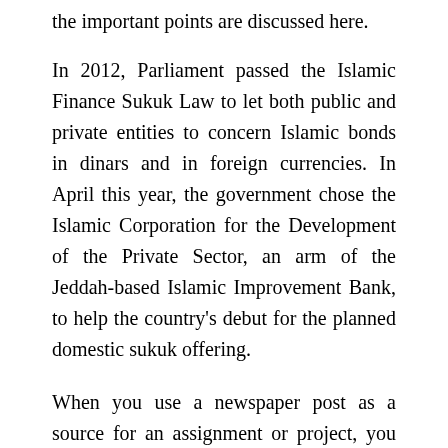the important points are discussed here.
In 2012, Parliament passed the Islamic Finance Sukuk Law to let both public and private entities to concern Islamic bonds in dinars and in foreign currencies. In April this year, the government chose the Islamic Corporation for the Development of the Private Sector, an arm of the Jeddah-based Islamic Improvement Bank, to help the country's debut for the planned domestic sukuk offering.
When you use a newspaper post as a source for an assignment or project, you need to describe it so that readers themselves can uncover it. Below you will uncover a number of of the most typical methods to reference and cite a newspaper write-up. If the main source mentions John, you are in that...